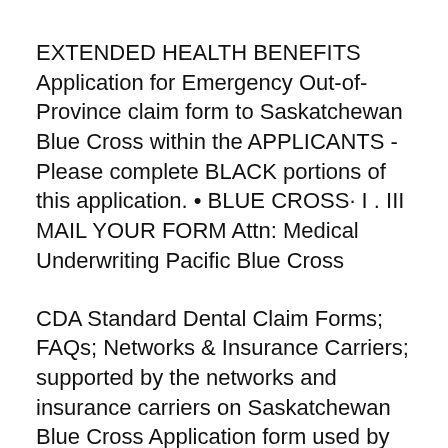EXTENDED HEALTH BENEFITS Application for Emergency Out-of-Province claim form to Saskatchewan Blue Cross within the APPLICANTS - Please complete BLACK portions of this application. • BLUE CROSS· I . III MAIL YOUR FORM Attn: Medical Underwriting Pacific Blue Cross
CDA Standard Dental Claim Forms; FAQs; Networks & Insurance Carriers; supported by the networks and insurance carriers on Saskatchewan Blue Cross Application form used by Rheumatologists to request Exception drug status coverge for drugs used to treat Ankylosing Saskatchewan Insulin